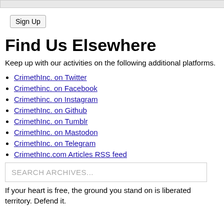[top bar/input field - partially visible]
Sign Up
Find Us Elsewhere
Keep up with our activities on the following additional platforms.
CrimethInc. on Twitter
Crimethinc. on Facebook
Crimethinc. on Instagram
CrimethInc. on Github
CrimethInc. on Tumblr
CrimethInc. on Mastodon
CrimethInc. on Telegram
CrimethInc.com Articles RSS feed
SEARCH ARCHIVES...
If your heart is free, the ground you stand on is liberated territory. Defend it.